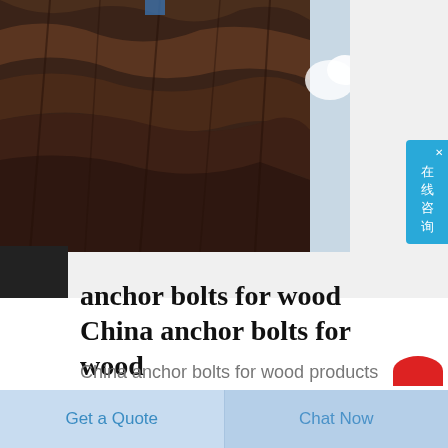[Figure (photo): Close-up photograph of a dark, rough rock face or cliff surface with reddish-brown texture, taken against a partially cloudy sky]
anchor bolts for wood China anchor bolts for wood
China anchor bolts for wood products and anchor bolts for wood manufacturer Trade platform for China anchor bolts for wood manufacturers and global anchor bolts for wood buyers provided by Chinax com
[Figure (other): Blue sidebar button with Chinese characters 在线咨询 (online consultation) and a close X mark]
[Figure (other): Red circular button partially visible at bottom right]
Get a Quote
Chat Now